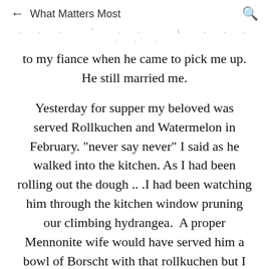← What Matters Most 🔍
to my fiance when he came to pick me up. He still married me.
Yesterday for supper my beloved was served Rollkuchen and Watermelon in February. "never say never" I said as he walked into the kitchen. As I had been rolling out the dough .. .I had been watching him through the kitchen window pruning our climbing hydrangea.  A proper Mennonite wife would have served him a bowl of Borscht with that rollkuchen but I was on a